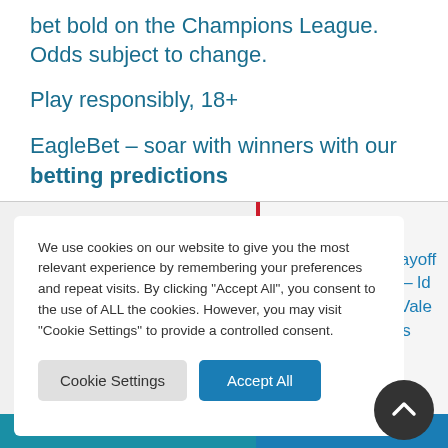bet bold on the Champions League. Odds subject to change.
Play responsibly, 18+
EagleBet – soar with winners with our betting predictions
We use cookies on our website to give you the most relevant experience by remembering your preferences and repeat visits. By clicking "Accept All", you consent to the use of ALL the cookies. However, you may visit "Cookie Settings" to provide a controlled consent.
ext post
2 EFL League Playoff Final etting Tips – ld Town FC v Port Vale FC Predictions